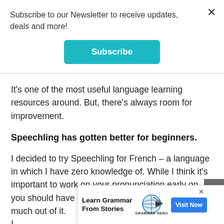Subscribe to our Newsletter to receive updates, deals and more!
Subscribe
It's one of the most useful language learning resources around. But, there's always room for improvement.
Speechling has gotten better for beginners.
I decided to try Speechling for French – a language in which I have zero knowledge of. While I think it's important to work on your pronunciation early on, you should have at least the basics down to get much out of it. I new comm s of
[Figure (screenshot): Advertisement banner: Learn Grammar From Stories - Grammar Hero, with Visit Now button]